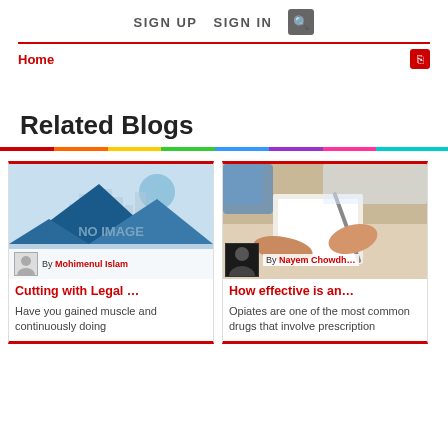SIGN UP   SIGN IN   [search]
Home
Related Blogs
[Figure (illustration): Landscape illustration with blue mountains and city skyline, with 'NO IMAGE' placeholder text overlay. Author avatar with 'By Mohimenul Islam' label.]
Cutting with Legal …
Have you gained muscle and continuously doing
[Figure (photo): Photo of hands writing on paper, person in medical/professional attire. Small author avatar with 'By Nayem Chowdh…' label.]
How effective is an…
Opiates are one of the most common drugs that involve prescription